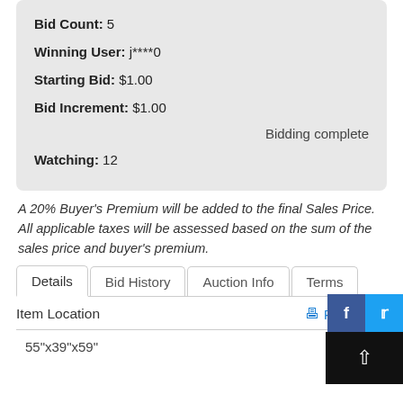Current Bid: $5.00
Bid Count: 5
Winning User: j****0
Starting Bid: $1.00
Bid Increment: $1.00
Bidding complete
Watching: 12
A 20% Buyer's Premium will be added to the final Sales Price. All applicable taxes will be assessed based on the sum of the sales price and buyer's premium.
Details | Bid History | Auction Info | Terms
Item Location
Print Page
55"x39"x59"